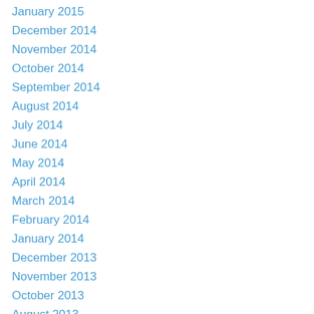January 2015
December 2014
November 2014
October 2014
September 2014
August 2014
July 2014
June 2014
May 2014
April 2014
March 2014
February 2014
January 2014
December 2013
November 2013
October 2013
August 2013
July 2013
June 2013
May 2013